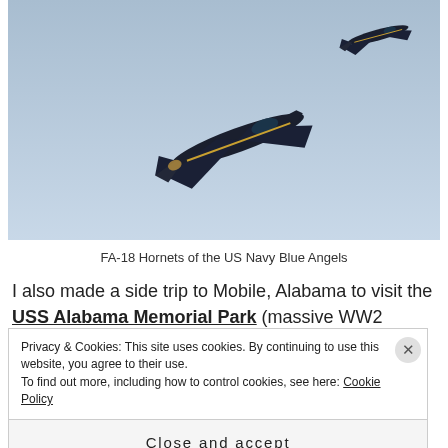[Figure (photo): Two FA-18 Hornet jets of the US Navy Blue Angels flying in formation against a pale blue sky]
FA-18 Hornets of the US Navy Blue Angels
I also made a side trip to Mobile, Alabama to visit the USS Alabama Memorial Park (massive WW2 battleship, USS Drum WW2 submarine and air and tank museum), you could explore most areas of the battleship which was very interesting. Then back in
Privacy & Cookies: This site uses cookies. By continuing to use this website, you agree to their use.
To find out more, including how to control cookies, see here: Cookie Policy
Close and accept